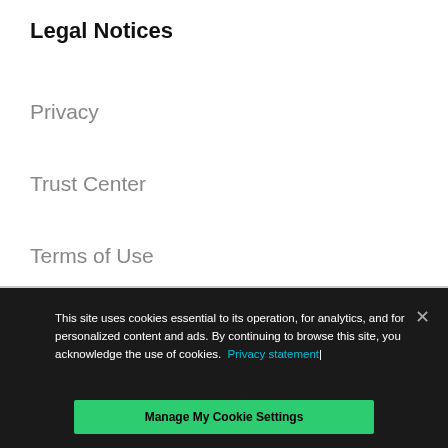Legal Notices
Privacy
Trust Center
Terms of Use
Documents
This site uses cookies essential to its operation, for analytics, and for personalized content and ads. By continuing to browse this site, you acknowledge the use of cookies. Privacy statement|
Manage My Cookie Settings